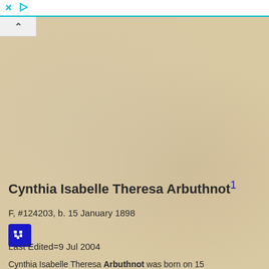× ▷
Cynthia Isabelle Theresa Arbuthnot1
F, #124203, b. 15 January 1898
[Figure (other): Blue family tree / pedigree icon button]
Last Edited=9 Jul 2004
Cynthia Isabelle Theresa Arbuthnot was born on 15